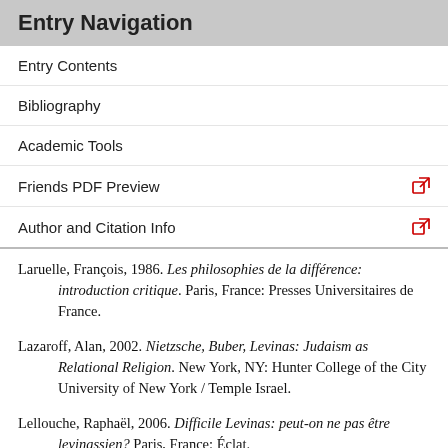Entry Navigation
Entry Contents
Bibliography
Academic Tools
Friends PDF Preview
Author and Citation Info
Laruelle, François, 1986. Les philosophies de la différence: introduction critique. Paris, France: Presses Universitaires de France.
Lazaroff, Alan, 2002. Nietzsche, Buber, Levinas: Judaism as Relational Religion. New York, NY: Hunter College of the City University of New York / Temple Israel.
Lellouche, Raphaël, 2006. Difficile Levinas: peut-on ne pas être levinassien? Paris, France: Éclat.
Lescourret, Marie-Anne, 1994. Emmanuel Levinas. Paris,